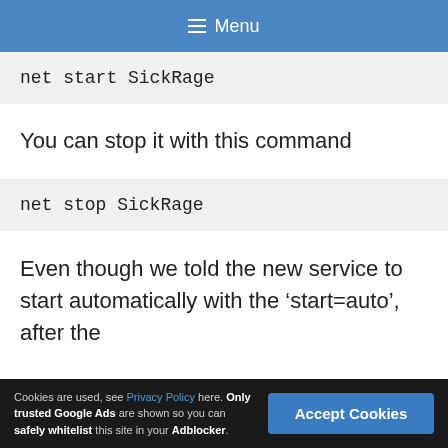≡ Menu
You can stop it with this command
Even though we told the new service to start automatically with the 'start=auto', after the
Cookies are used, see Privacy Policy here. Only trusted Google Ads are shown so you can safely whitelist this site in your Adblocker.